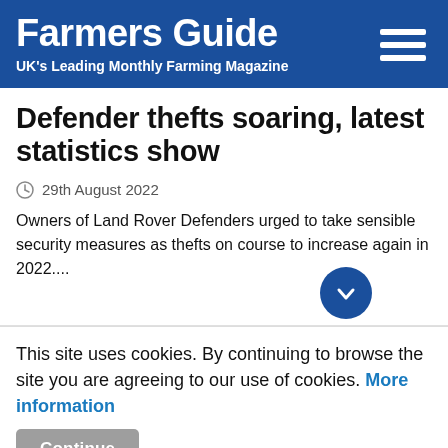Farmers Guide — UK's Leading Monthly Farming Magazine
Defender thefts soaring, latest statistics show
29th August 2022
Owners of Land Rover Defenders urged to take sensible security measures as thefts on course to increase again in 2022....
This site uses cookies. By continuing to browse the site you are agreeing to our use of cookies. More information
Continue